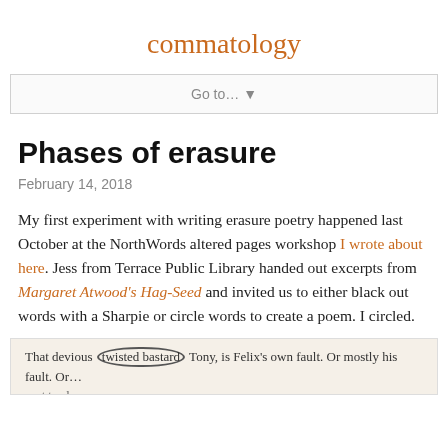commatology
Go to... ▼
Phases of erasure
February 14, 2018
My first experiment with writing erasure poetry happened last October at the NorthWords altered pages workshop I wrote about here. Jess from Terrace Public Library handed out excerpts from Margaret Atwood's Hag-Seed and invited us to either black out words with a Sharpie or circle words to create a poem. I circled.
[Figure (photo): A photograph of a printed book page excerpt showing the text 'That devious twisted bastard Tony, is Felix's own fault. Or mostly his fault. Or...' with the words 'twisted bastard' circled in ink.]